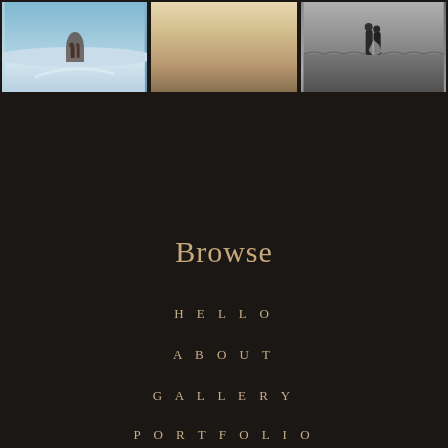[Figure (photo): Three wedding photography images in a horizontal row at the top: left shows a couple in a snowy landscape, center shows a couple standing on rocky terrain in warm light, right shows a black and white image of a couple in a field.]
Browse
HELLO
ABOUT
GALLERY
PORTFOLIO